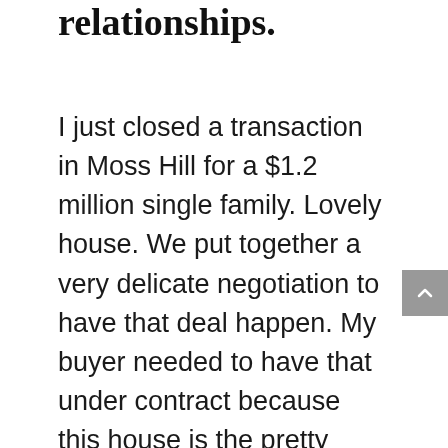relationships.
I just closed a transaction in Moss Hill for a $1.2 million single family. Lovely house. We put together a very delicate negotiation to have that deal happen. My buyer needed to have that under contract because this house is the pretty much the only thing that satisfied their specific needs. But we needed to sell their place to make this happen. I needed to know for sure that we were under contract for their condo in Newton.